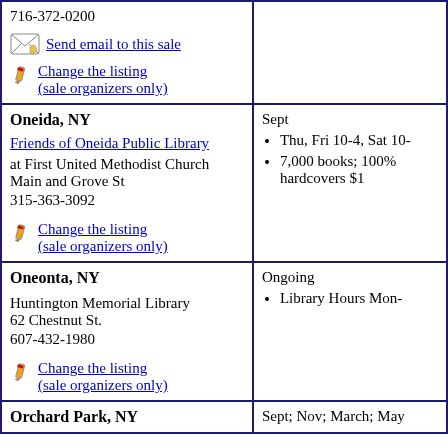| Location/Organizer | Date/Details |
| --- | --- |
| 716-372-0200
[Send email to this sale]
[Change the listing (sale organizers only)] |  |
| Oneida, NY
Friends of Oneida Public Library
at First United Methodist Church
Main and Grove St
315-363-3092
[Change the listing (sale organizers only)] | Sept
• Thu, Fri 10-4, Sat 10-
• 7,000 books; 100% hardcovers $1 |
| Oneonta, NY
Huntington Memorial Library
62 Chestnut St.
607-432-1980
[Change the listing (sale organizers only)] | Ongoing
• Library Hours Mon- |
| Orchard Park, NY | Sept; Nov; March; May |